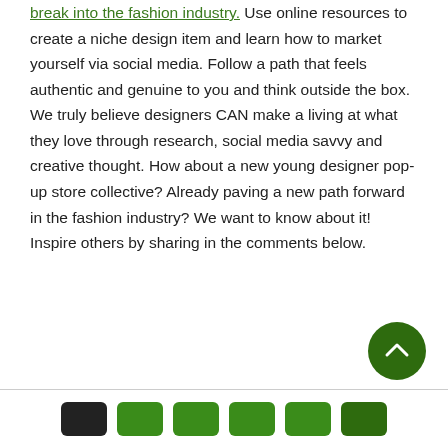break into the fashion industry. Use online resources to create a niche design item and learn how to market yourself via social media. Follow a path that feels authentic and genuine to you and think outside the box. We truly believe designers CAN make a living at what they love through research, social media savvy and creative thought. How about a new young designer pop-up store collective? Already paving a new path forward in the fashion industry? We want to know about it! Inspire others by sharing in the comments below.